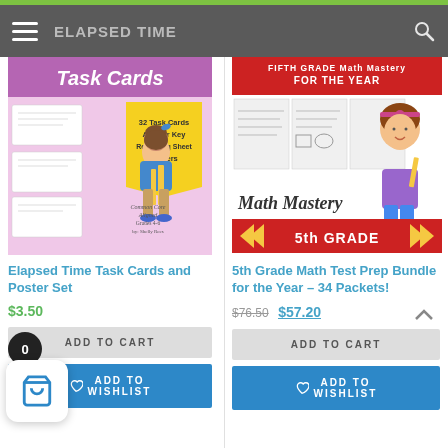ELAPSED TIME | FIFTH GRADE Math Mastery FOR THE YEAR
[Figure (illustration): Elapsed Time Task Cards product image showing a girl holding pencils with pink polka dot task cards, yellow pennant banner listing 32 Task Cards, Answer Key, Recording Sheet, Posters, Common Core Aligned, Grades 4-6, by Shelly Rees]
[Figure (illustration): 5th Grade Math Test Prep Bundle product image showing worksheets and a girl with a pencil, Math Mastery, 5th GRADE banner]
Elapsed Time Task Cards and Poster Set
5th Grade Math Test Prep Bundle for the Year – 34 Packets!
$3.50
$76.50 $57.20
ADD TO CART
ADD TO CART
ADD TO WISHLIST
ADD TO WISHLIST